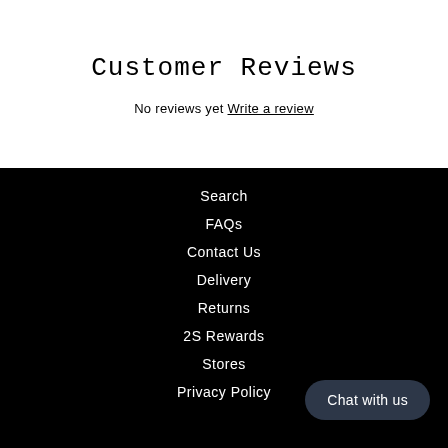Customer Reviews
No reviews yet Write a review
Search
FAQs
Contact Us
Delivery
Returns
2S Rewards
Stores
Privacy Policy
Chat with us